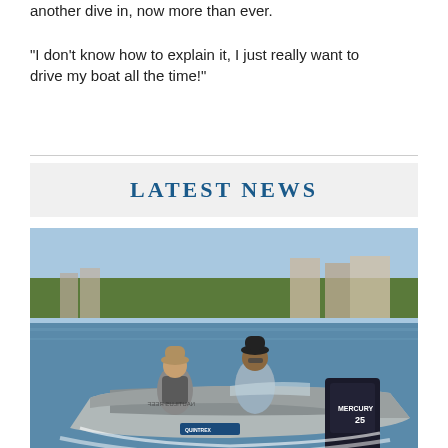another dive in, now more than ever.

“I don’t know how to explain it, I just really want to drive my boat all the time!”
LATEST NEWS
[Figure (photo): Two men riding in an aluminium Quintrex boat with a Mercury 25 outboard motor on calm water, waterfront buildings and trees visible in background.]